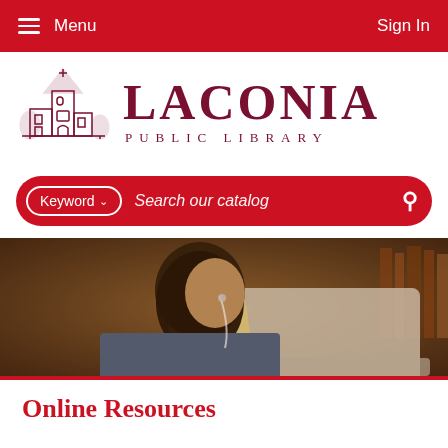Menu | Sign In
[Figure (logo): Laconia Public Library logo with illustrated church/building and text 'LACONIA PUBLIC LIBRARY']
[Figure (other): Red search bar with Keyword dropdown and 'Search our catalog' placeholder text and search icon]
[Figure (photo): Young woman with headphones reading a book in front of a laptop, in a library setting]
Online Resources